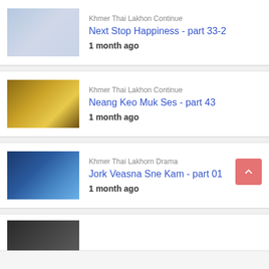Khmer Thai Lakhon Continue
Next Stop Happiness - part 33-2
1 month ago
Khmer Thai Lakhon Continue
Neang Keo Muk Ses - part 43
1 month ago
Khmer Thai Lakhorn Drama
Jork Veasna Sne Kam - part 01
1 month ago
(partial fourth item, thumbnail only visible)